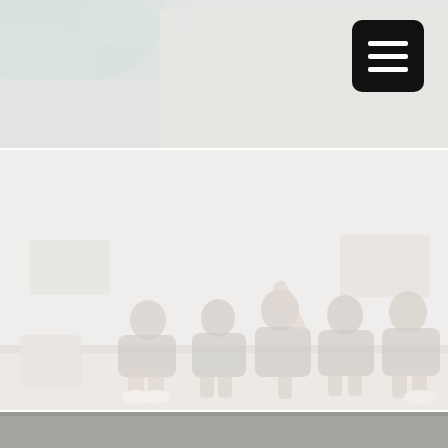[Figure (photo): Top section: light gray/beige textured background with a blue-green watercolor wash in the upper-left corner. A black rounded-rectangle hamburger menu button is visible in the upper-right corner.]
[Figure (photo): Middle section: a wedding/bridal party photograph showing a group of bridesmaids in gray shirts and denim shorts sitting and laughing on a white surface against a whitewashed wall background. One bridesmaid has her leg raised in a playful pose.]
[Figure (photo): Bottom section: a partial gray-toned photograph forming a thin strip at the very bottom of the page.]